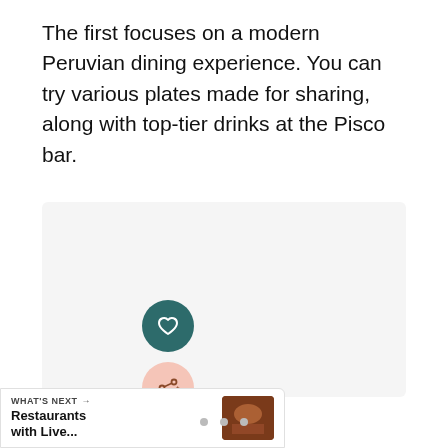The first focuses on a modern Peruvian dining experience. You can try various plates made for sharing, along with top-tier drinks at the Pisco bar.
[Figure (photo): Light gray placeholder image area for a restaurant photo]
[Figure (other): Dark teal circular heart/favorite button icon]
[Figure (other): Light pink circular share button icon]
WHAT'S NEXT → Restaurants with Live...